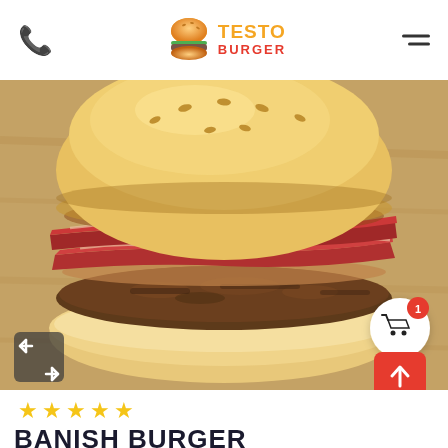Testo Burger — phone icon, logo, hamburger menu
[Figure (photo): Close-up photo of a large gourmet burger with a toasted bun, bacon strips, vegetable relish, and a thick beef patty on a wooden cutting board]
☆ ☆ ☆ ☆ ☆
BANISH BURGER